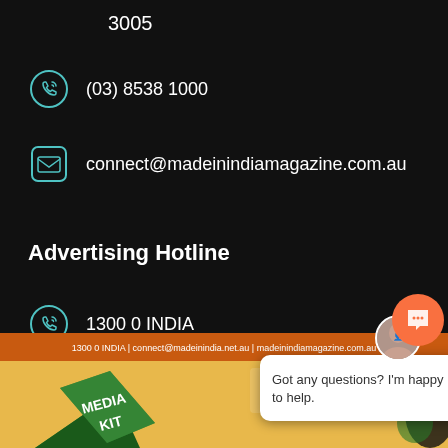3005
(03) 8538 1000
connect@madeinindiamagazine.com.au
Advertising Hotline
1300 0 INDIA
Media Kit
[Figure (screenshot): Media Kit promotional image strip with orange banner showing contact info and MMMA Audited Media Association of Australia logo, CAB 18,548 badge, Indian-themed kite illustration with MEDIA KIT text]
Got any questions? I'm happy to help.